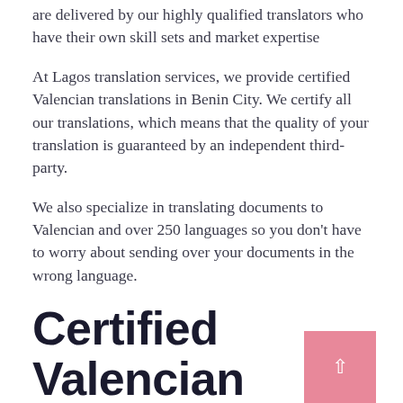are delivered by our highly qualified translators who have their own skill sets and market expertise
At Lagos translation services, we provide certified Valencian translations in Benin City. We certify all our translations, which means that the quality of your translation is guaranteed by an independent third-party.
We also specialize in translating documents to Valencian and over 250 languages so you don't have to worry about sending over your documents in the wrong language.
Certified Valencian Translation Services in Benin City
At Lagos translation services, we offer the best Valencian